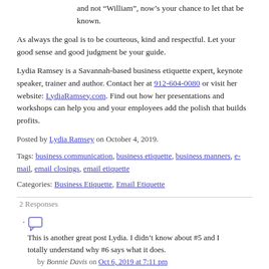and not “William”, now’s your chance to let that be known.
As always the goal is to be courteous, kind and respectful. Let your good sense and good judgment be your guide.
Lydia Ramsey is a Savannah-based business etiquette expert, keynote speaker, trainer and author. Contact her at 912-604-0080 or visit her website: LydiaRamsey.com. Find out how her presentations and workshops can help you and your employees add the polish that builds profits.
Posted by Lydia Ramsey on October 4, 2019.
Tags: business communication, business etiquette, business manners, e-mail, email closings, email etiquette
Categories: Business Etiquette, Email Etiquette
2 Responses
This is another great post Lydia. I didn’t know about #5 and I totally understand why #6 says what it does.
by Bonnie Davis on Oct 6, 2019 at 7:11 pm
What an informative and delightful post, Lydia
. . . and most apropos considering the varied use of e-mail to communicate a wide variety of information.